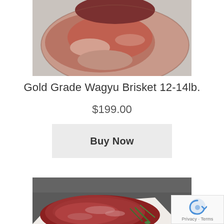[Figure (photo): Partial view of a raw meat cut (wagyu brisket) on a light gray surface, cropped at the top of the page.]
Gold Grade Wagyu Brisket 12-14lb.
$199.00
Buy Now
[Figure (photo): A raw wagyu beef cut on white paper with green herb garnish, on a dark slate surface. Bottom portion of the page.]
[Figure (other): reCAPTCHA badge showing Privacy - Terms text]